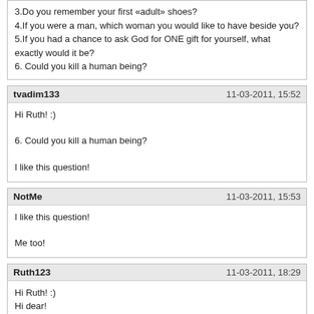3.Do you remember your first «adult» shoes?
4.If you were a man, which woman you would like to have beside you?
5.If you had a chance to ask God for ONE gift for yourself, what exactly would it be?
6. Could you kill a human being?
tvadim133 | 11-03-2011, 15:52
Hi Ruth! :)

6. Could you kill a human being?

I like this question!
NotMe | 11-03-2011, 15:53
I like this question!

Me too!
Ruth123 | 11-03-2011, 18:29
Hi Ruth! :)
Hi dear!

1.Your favorite colour in clothes/interieur?
Aww, i have phases so basically all colors but red and yellow; for clothes - for ages i didn't really wear colors only black; that changed, though i still love black for the evening; some of the fav combos as of lately are blue and brown and green and pink.